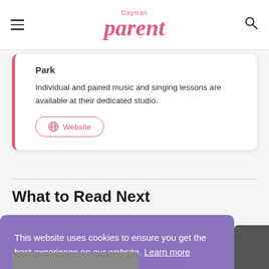Cayman parent
Park
Individual and paired music and singing lessons are available at their dedicated studio.
Website
What to Read Next
This website uses cookies to ensure you get the best experience on our website. Learn more
Got it!